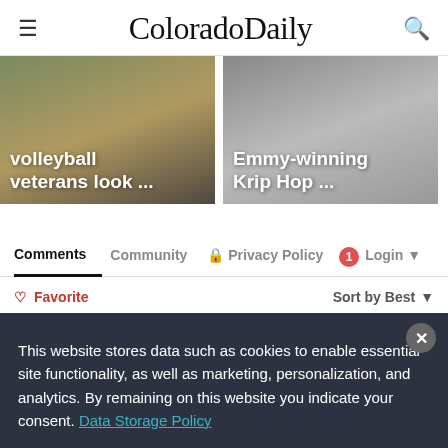ColoradoDaily
[Figure (screenshot): Article card with volleyball photo and text 'volleyball veterans look ...']
[Figure (screenshot): Article card with Emmy-winning Krip Hop illustration and text 'Emmy-winning Krip Hop ...']
Comments   Community   Privacy Policy   1   Login
Favorite   Sort by Best
Join the discussion...
This website stores data such as cookies to enable essential site functionality, as well as marketing, personalization, and analytics. By remaining on this website you indicate your consent. Data Storage Policy